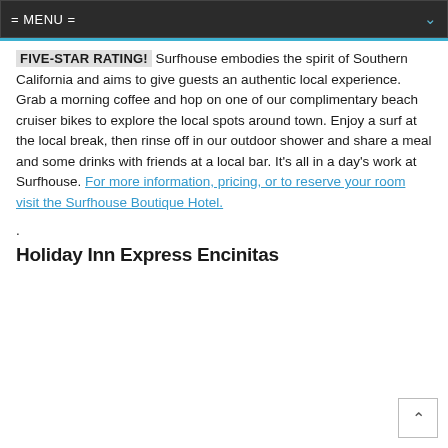= MENU =
FIVE-STAR RATING! Surfhouse embodies the spirit of Southern California and aims to give guests an authentic local experience. Grab a morning coffee and hop on one of our complimentary beach cruiser bikes to explore the local spots around town. Enjoy a surf at the local break, then rinse off in our outdoor shower and share a meal and some drinks with friends at a local bar. It's all in a day's work at Surfhouse. For more information, pricing, or to reserve your room visit the Surfhouse Boutique Hotel.
.
Holiday Inn Express Encinitas